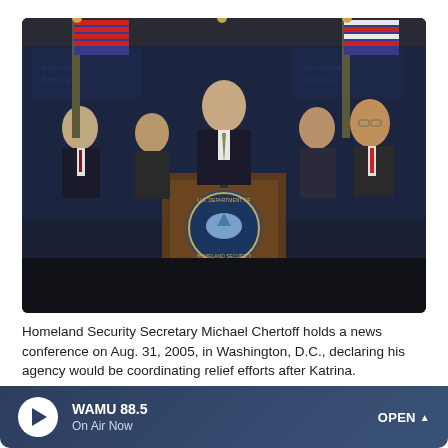[Figure (photo): Homeland Security Secretary Michael Chertoff stands at a podium bearing the U.S. Department of Homeland Security seal, speaking at a news conference. Several officials stand behind him on either side. American flags and a 'Homeland Security' backdrop are visible.]
Homeland Security Secretary Michael Chertoff holds a news conference on Aug. 31, 2005, in Washington, D.C., declaring his agency would be coordinating relief efforts after Katrina.
Chip Somodevilla/Getty Images
WAMU 88.5 On Air Now OPEN ^